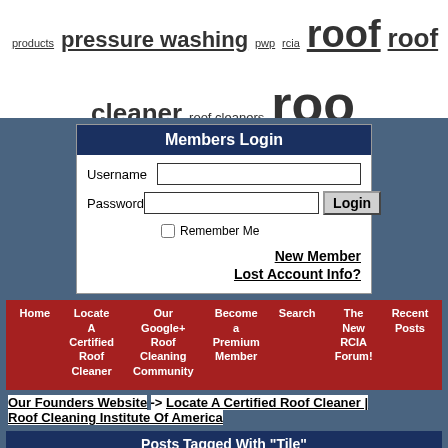products pressure washing pwp rcia roof roof cleaner roof cleaners roof equipment roof cleaning houston texas roof cleaning pa roof cleaning pump roof cleaning tampa wash roof washing roofcleaning roofing safety seo shingle shingles simpsonville soft wash systems spray wash stains tallahassee tampa tile ugly shingles wash washing
Members Login
Username [input] Password [input] Login Remember Me New Member Lost Account Info?
Home Locate A Certified Roof Cleaner Our Google+ Roof Cleaning Community Become a Premium Member Search The New RCIA Forum! Recent Posts
Our Founders Website -> Locate A Certified Roof Cleaner | Roof Cleaning Institute Of America
Posts Tagged With "Tile"
Wilmington NC roof cleaning, Roof | Wilmington roof cleaning cleaners north carolina nc stain removal tile cedar